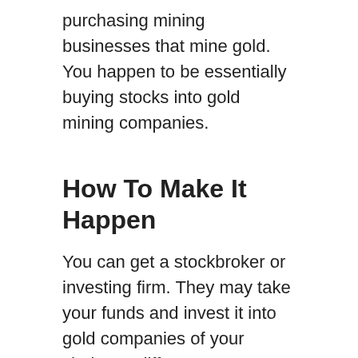purchasing mining businesses that mine gold. You happen to be essentially buying stocks into gold mining companies.
How To Make It Happen
You can get a stockbroker or investing firm. They may take your funds and invest it into gold companies of your choice. A different way to get it done would be to join an internet stock trading platform and spend money on gold businesses that are listed on the platform. You purchase a particular amount of shares and then sell them when you've made a profit.